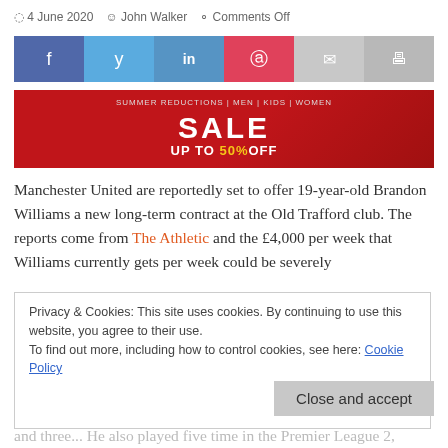4 June 2020  John Walker  Comments Off
[Figure (infographic): Social sharing buttons: Facebook (blue), Twitter (light blue), LinkedIn (medium blue), Pinterest (red), Email (light grey), Print (grey)]
[Figure (infographic): Sale advertisement banner: red background with 'SALE UP TO 50% OFF' text in white and yellow]
Manchester United are reportedly set to offer 19-year-old Brandon Williams a new long-term contract at the Old Trafford club. The reports come from The Athletic and the £4,000 per week that Williams currently gets per week could be severely
Privacy & Cookies: This site uses cookies. By continuing to use this website, you agree to their use.
To find out more, including how to control cookies, see here: Cookie Policy
emerged in the first team this season, playing 37 times before the coronavirus pandemic suspended most football, scoring one goal and three... He also played five time in the Premier League 2, which is for the U23 players,